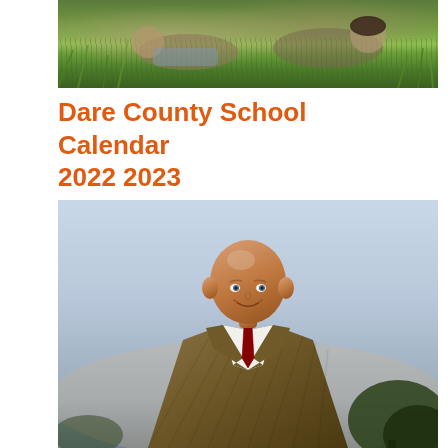[Figure (photo): Two students lying in a grassy field, looking at papers or a book together]
Dare County School Calendar 2022 2023
[Figure (photo): Portrait of a bald man in a brown/tan houndstooth blazer with a white shirt and dark red/maroon tie, smiling, photographed outdoors with a light sky background and trees visible at lower right]